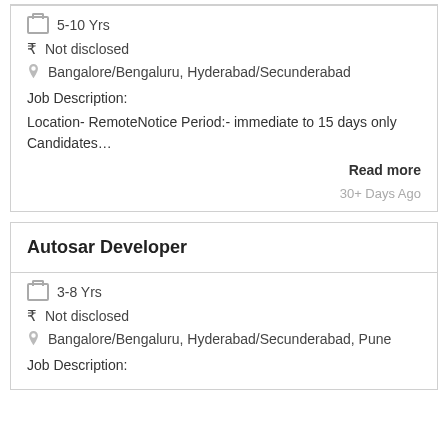5-10 Yrs
Not disclosed
Bangalore/Bengaluru, Hyderabad/Secunderabad
Job Description:
Location- RemoteNotice Period:- immediate to 15 days only Candidates…
Read more
30+ Days Ago
Autosar Developer
3-8 Yrs
Not disclosed
Bangalore/Bengaluru, Hyderabad/Secunderabad, Pune
Job Description: